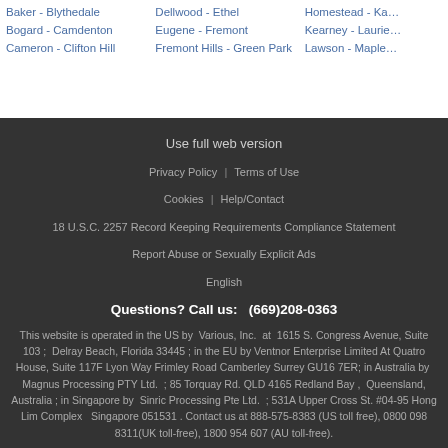Baker - Blythedale
Bogard - Camdenton
Cameron - Clifton Hill
Dellwood - Ethel
Eugene - Fremont
Fremont Hills - Green Park
Homestead - Ka…
Kearney - Laurie…
Lawson - Maple…
Use full web version
Privacy Policy  |   Terms of Use
Cookies  |  Help/Contact
18 U.S.C. 2257 Record Keeping Requirements Compliance Statement
Report Abuse or Sexually Explicit Ads
English
Questions? Call us:   (669)208-0363
This website is operated in the US by  Various, Inc.  at  1615 S. Congress Avenue, Suite 103 ;  Delray Beach, Florida 33445 ; in the EU by Ventnor Enterprise Limited At Quatro House, Suite 117F Lyon Way Frimley Road Camberley Surrey GU16 7ER; in Australia by  Magnus Processing PTY Ltd.  ; 85 Torquay Rd. QLD 4165 Redland Bay ,  Queensland, Australia ; in Singapore by  Sinric Processing Pte Ltd.  ; 531A Upper Cross St. #04-95 Hong Lim Complex   Singapore 051531 . Contact us at 888-575-8383 (US toll free), 0800 098 8311(UK toll-free), 1800 954 607 (AU toll-free).